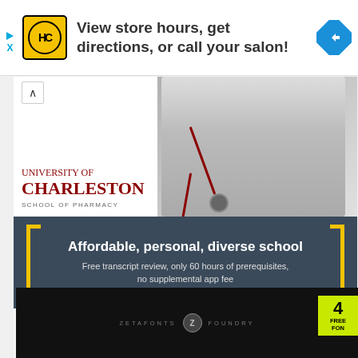[Figure (screenshot): HC salon ad banner with yellow HC logo and navigation diamond icon. Text: View store hours, get directions, or call your salon!]
[Figure (screenshot): University of Charleston School of Pharmacy advertisement. Shows a photo of pharmacy students with stethoscopes. Dark bar reads: Affordable, personal, diverse school. Free transcript review, only 60 hours of prerequisites, no supplemental app fee. Sponsored by ucwv.edu with Open button.]
[Figure (screenshot): Black video thumbnail area showing ZETAFONTS FOUNDRY logo with a green badge showing 4 FREE FONTS in the corner.]